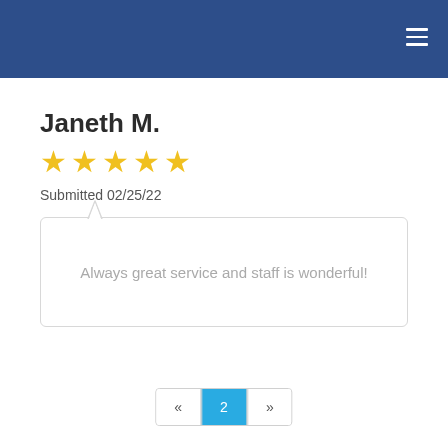Navigation header bar with hamburger menu
Janeth M.
[Figure (other): Five yellow star rating icons]
Submitted 02/25/22
Always great service and staff is wonderful!
« 2 »